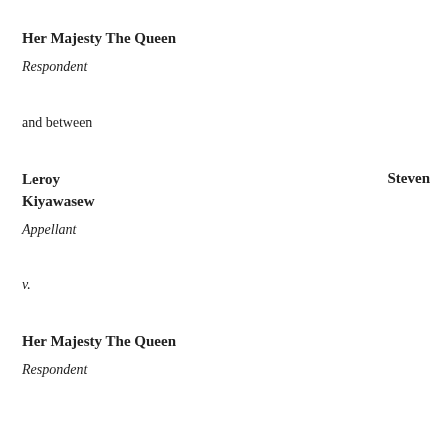Her Majesty The Queen
Respondent
and between
Leroy Steven Kiyawasew
Appellant
v.
Her Majesty The Queen
Respondent